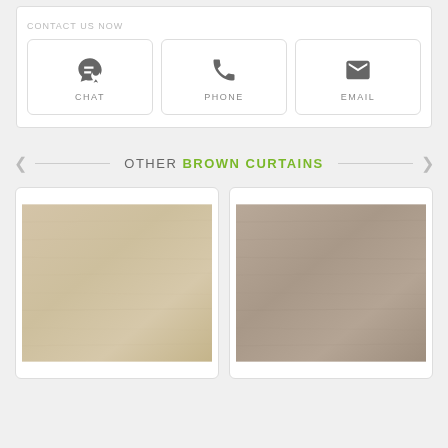CONTACT US NOW
[Figure (infographic): Three contact option buttons: CHAT (speech bubble icon), PHONE (phone handset icon), EMAIL (envelope icon), arranged horizontally in a bordered box]
OTHER BROWN CURTAINS
[Figure (photo): Light beige/tan fabric curtain product photo]
[Figure (photo): Medium taupe/grey-brown fabric curtain product photo]